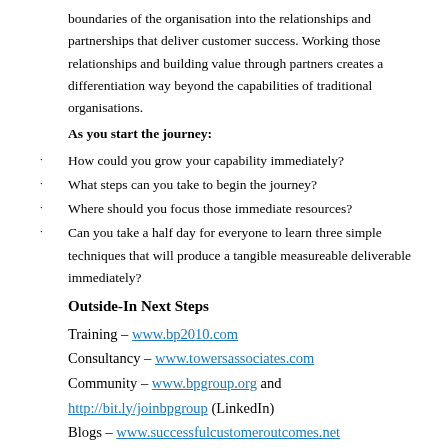boundaries of the organisation into the relationships and partnerships that deliver customer success. Working those relationships and building value through partners creates a differentiation way beyond the capabilities of traditional organisations.
As you start the journey:
How could you grow your capability immediately?
What steps can you take to begin the journey?
Where should you focus those immediate resources?
Can you take a half day for everyone to learn three simple techniques that will produce a tangible measureable deliverable immediately?
Outside-In Next Steps
Training – www.bp2010.com
Consultancy – www.towersassociates.com
Community – www.bpgroup.org and http://bit.ly/joinbpgroup (LinkedIn)
Blogs – www.successfulcustomeroutcomes.net